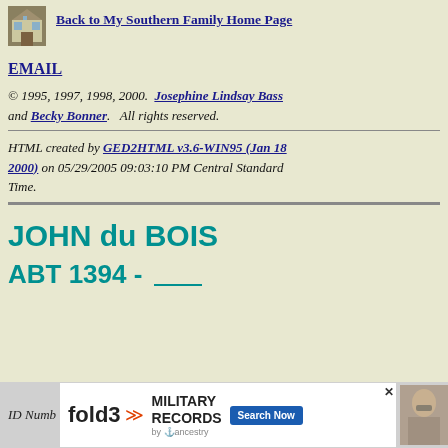[Figure (illustration): Small thumbnail photo of a house, used as a navigation icon link]
Back to My Southern Family Home Page
EMAIL
© 1995, 1997, 1998, 2000.  Josephine Lindsay Bass and Becky Bonner.   All rights reserved.
HTML created by GED2HTML v3.6-WIN95 (Jan 18 2000) on 05/29/2005 09:03:10 PM Central Standard Time.
JOHN du BOIS
ABT 1394 - ____
ID Numb
[Figure (illustration): fold3 Military Records advertisement banner with Search Now button and a historical photo]